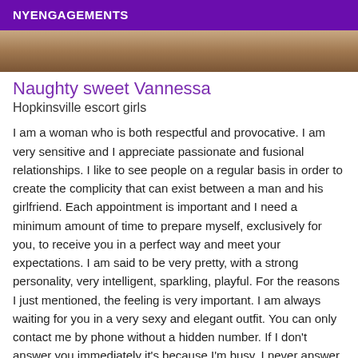NYENGAGEMENTS
[Figure (photo): Partial photo of a person, cropped, brownish tones]
Naughty sweet Vannessa
Hopkinsville escort girls
I am a woman who is both respectful and provocative. I am very sensitive and I appreciate passionate and fusional relationships. I like to see people on a regular basis in order to create the complicity that can exist between a man and his girlfriend. Each appointment is important and I need a minimum amount of time to prepare myself, exclusively for you, to receive you in a perfect way and meet your expectations. I am said to be very pretty, with a strong personality, very intelligent, sparkling, playful. For the reasons I just mentioned, the feeling is very important. I am always waiting for you in a very sexy and elegant outfit. You can only contact me by phone without a hidden number. If I don't answer you immediately it's because I'm busy. I never answer when I